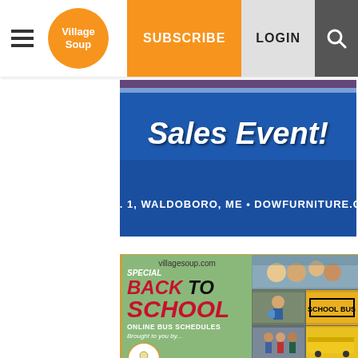Village Soup | SUBSCRIBE | LOGIN
[Figure (advertisement): Dow Furniture Sales Event ad banner — blue background with 'Sales Event!' text and 'RTE. 1, WALDOBORO, ME • DOWFURNITURE.COM']
[Figure (advertisement): Village Soup Special Back To School Online Bus Schedules ad — green background with red/black text, school bus photos on right, 'Brought to you by...' with logo circle at bottom left]